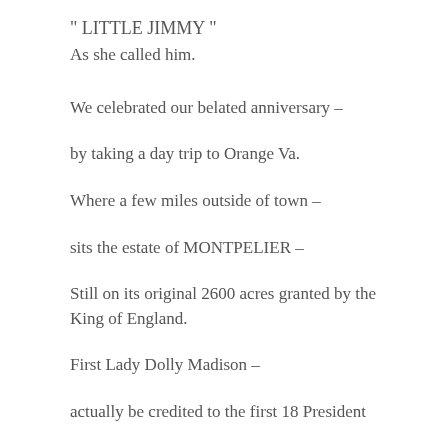" LITTLE JIMMY "
As she called him.
We celebrated our belated anniversary –
by taking a day trip to Orange Va.
Where a few miles outside of town –
sits the estate of MONTPELIER –
Still on its original 2600 acres granted by the King of England.
First Lady Dolly Madison –
actually be credited to the first 18 President...